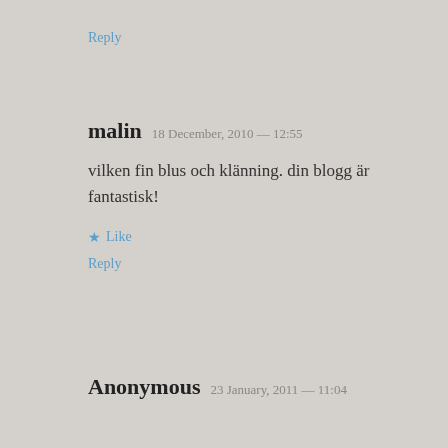Reply
malin  18 December, 2010 — 12:55
vilken fin blus och klänning. din blogg är fantastisk!
★ Like
Reply
Anonymous  23 January, 2011 — 11:04